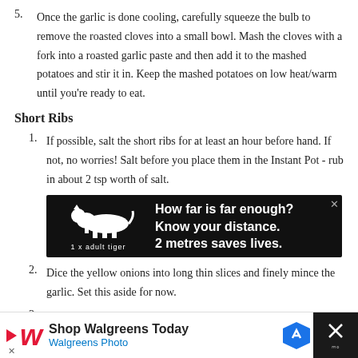5. Once the garlic is done cooling, carefully squeeze the bulb to remove the roasted cloves into a small bowl. Mash the cloves with a fork into a roasted garlic paste and then add it to the mashed potatoes and stir it in. Keep the mashed potatoes on low heat/warm until you're ready to eat.
Short Ribs
1. If possible, salt the short ribs for at least an hour before hand. If not, no worries! Salt before you place them in the Instant Pot - rub in about 2 tsp worth of salt.
[Figure (other): Advertisement banner with black background showing a tiger silhouette, text '1 x adult tiger', and message: 'How far is far enough? Know your distance. 2 metres saves lives.']
2. Dice the yellow onions into long thin slices and finely mince the garlic. Set this aside for now.
3. Place your Instant Pot on the Saute function. Let it warm up and then add in about 2 tbsp of avocado oil. Once it's hot, add in the
[Figure (other): Walgreens advertisement banner: 'Shop Walgreens Today' with Walgreens Photo logo and icons.]